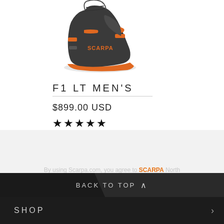[Figure (photo): SCARPA F1 LT Men's ski boot in dark grey and orange colorway, shown from side angle]
F1 LT MEN'S
$899.00 USD
★★★★★
By using Scarpa.com, you agree to SCARPA North America's use of cookies. Read our cookie policy and privacy information.
I AGREE
BACK TO TOP
SHOP